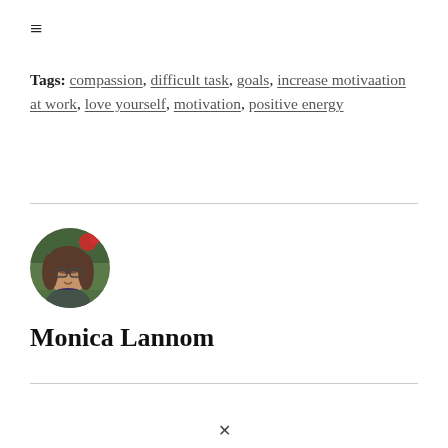≡
Tags: compassion, difficult task, goals, increase motivaation at work, love yourself, motivation, positive energy
[Figure (photo): Circular avatar photo of Monica Lannom, a woman with glasses and brown hair, outdoors with red flowers and green foliage in the background.]
Monica Lannom